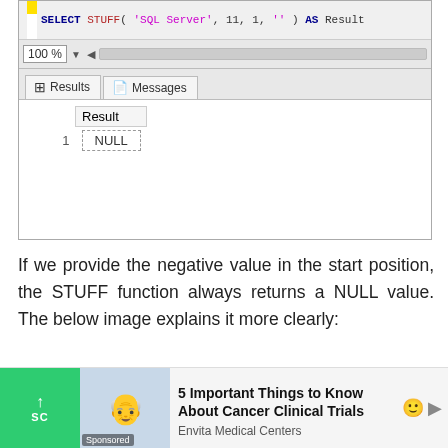[Figure (screenshot): SQL Server Management Studio screenshot showing query result tab with a table displaying one row where Result column contains NULL value. The query bar shows SELECT STUFF('SQL Server', 11, 1, '') AS Result. A 100% zoom toolbar is visible. Results and Messages tabs shown.]
If we provide the negative value in the start position, the STUFF function always returns a NULL value. The below image explains it more clearly:
[Figure (screenshot): Advertisement bar at the bottom: green scroll-to-top button on left, image of elderly patient with doctor, ad for '5 Important Things to Know About Cancer Clinical Trials' by Envita Medical Centers (Sponsored)]